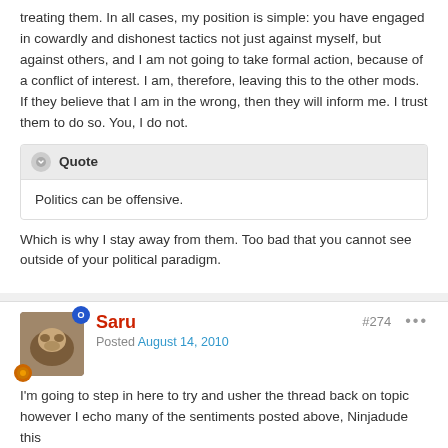treating them. In all cases, my position is simple: you have engaged in cowardly and dishonest tactics not just against myself, but against others, and I am not going to take formal action, because of a conflict of interest. I am, therefore, leaving this to the other mods. If they believe that I am in the wrong, then they will inform me. I trust them to do so. You, I do not.
Quote
Politics can be offensive.
Which is why I stay away from them. Too bad that you cannot see outside of your political paradigm.
Saru
Posted August 14, 2010
#274
I'm going to step in here to try and usher the thread back on topic however I echo many of the sentiments posted above, Ninjadude this being the first time we see eye to eye on something.